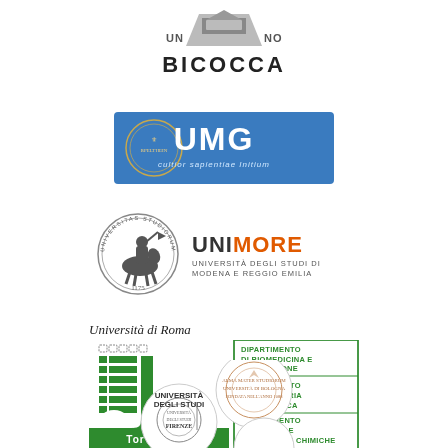[Figure (logo): Università degli Studi di Milano-Bicocca logo with architectural symbol and BICOCCA text]
[Figure (logo): UMG (Università degli Studi Magna Graecia) blue banner logo with crest and latin motto 'cultior sapientiae Initium']
[Figure (logo): UNIMORE - Università degli Studi di Modena e Reggio Emilia logo with knight seal and orange/grey text]
[Figure (logo): Università di Roma Tor Vergata logo with green J-bar graphic and department list: Dipartimento di Biomedicina e Prevenzione, Dipartimento di Ingegneria Elettronica, Dipartimento di Scienze e Tecnologie Chimiche]
[Figure (logo): Two overlapping circular logos: Alma Mater Studiorum Università di Bologna and Università degli Studi Firenze]